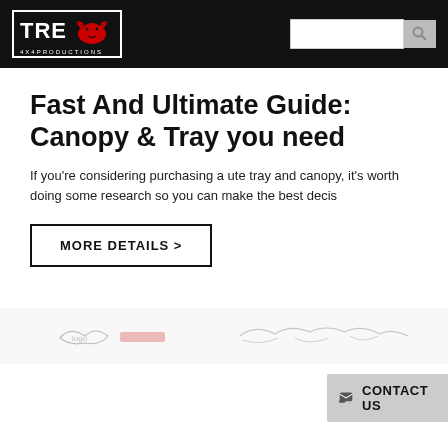TRE 4X4PRODUCTIONS logo and search bar
Fast And Ultimate Guide: Canopy & Tray you need
If you're considering purchasing a ute tray and canopy, it's worth doing some research so you can make the best decis
MORE DETAILS >
[Figure (logo): Banner strip with sponsor/partner logos, partially visible]
CONTACT US